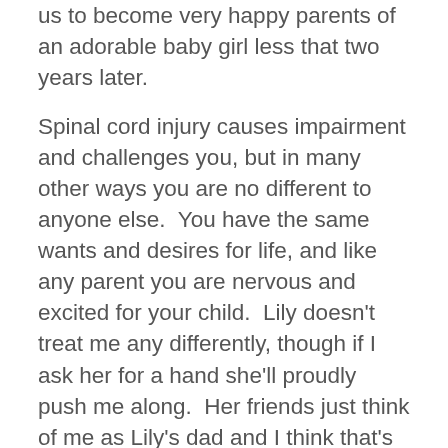us to become very happy parents of an adorable baby girl less that two years later.
Spinal cord injury causes impairment and challenges you, but in many other ways you are no different to anyone else.  You have the same wants and desires for life, and like any parent you are nervous and excited for your child.  Lily doesn't treat me any differently, though if I ask her for a hand she'll proudly push me along.  Her friends just think of me as Lily's dad and I think that's good, they're seeing that disabled people can do things.  It's the adults that make assumptions about your capabilities; one morning my mother-in-law took Lily to school and one of the other mothers asked where I was.  When she was